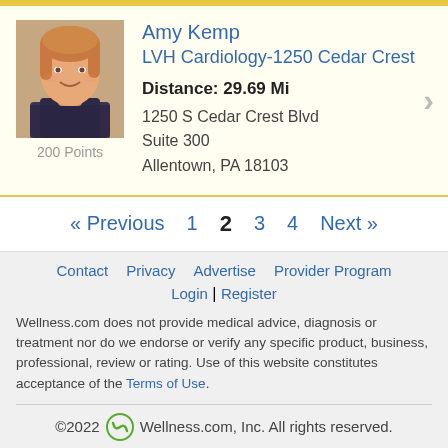[Figure (photo): Headshot photo of Amy Kemp, a woman with reddish-brown hair smiling]
200 Points
Amy Kemp
LVH Cardiology-1250 Cedar Crest
Distance: 29.69 Mi
1250 S Cedar Crest Blvd
Suite 300
Allentown, PA 18103
« Previous  1  2  3  4  Next »
Contact  Privacy  Advertise  Provider Program
Login | Register
Wellness.com does not provide medical advice, diagnosis or treatment nor do we endorse or verify any specific product, business, professional, review or rating. Use of this website constitutes acceptance of the Terms of Use.
©2022 Wellness.com, Inc. All rights reserved.
Full Version